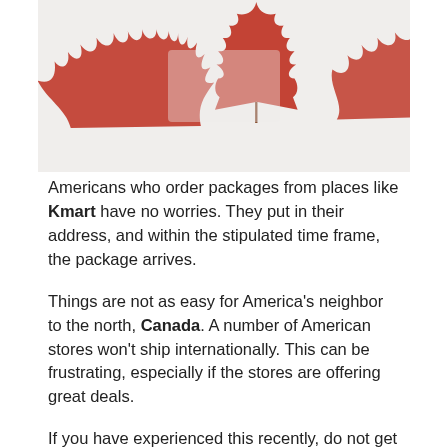[Figure (photo): Photo of red maple leaves arranged on a white background, evoking the Canadian flag. Leaves are positioned at the corners and top center.]
Americans who order packages from places like Kmart have no worries. They put in their address, and within the stipulated time frame, the package arrives.
Things are not as easy for America's neighbor to the north, Canada. A number of American stores won't ship internationally. This can be frustrating, especially if the stores are offering great deals.
If you have experienced this recently, do not get frustrated. There are options available that will allow you to ship items ordered from e-commerce stores like Kmart to your house or office address in